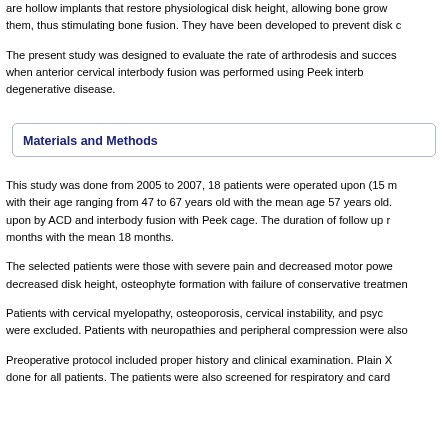are hollow implants that restore physiological disk height, allowing bone growth through them, thus stimulating bone fusion. They have been developed to prevent disk co...
The present study was designed to evaluate the rate of arthrodesis and success when anterior cervical interbody fusion was performed using Peek interb... degenerative disease.
Materials and Methods
This study was done from 2005 to 2007, 18 patients were operated upon (15 m... with their age ranging from 47 to 67 years old with the mean age 57 years old. upon by ACD and interbody fusion with Peek cage. The duration of follow up r... months with the mean 18 months.
The selected patients were those with severe pain and decreased motor powe... decreased disk height, osteophyte formation with failure of conservative treatmen...
Patients with cervical myelopathy, osteoporosis, cervical instability, and psy... were excluded. Patients with neuropathies and peripheral compression were alsc...
Preoperative protocol included proper history and clinical examination. Plain X... done for all patients. The patients were also screened for respiratory and card...